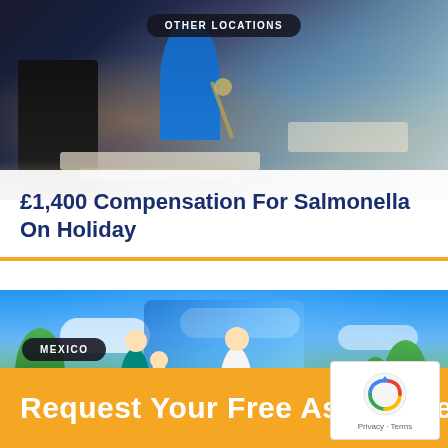[Figure (photo): Food buffet scene with people serving food, dark-clothed person on left, person in blue in center]
OTHER LOCATIONS
£1,400 Compensation For Salmonella On Holiday
[Figure (photo): Tropical holiday destination with family walking, lush green landscape and blue sky, Mexico]
MEXICO
Request Your Free Assessment